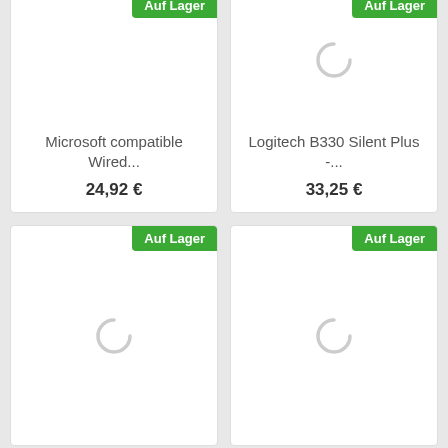[Figure (screenshot): Product card: Microsoft compatible Wired... with Auf Lager badge and price 24,92 €]
[Figure (screenshot): Product card: Logitech B330 Silent Plus -... with Auf Lager badge and price 33,25 €]
[Figure (screenshot): Product card with Auf Lager badge, loading spinner, no title visible]
[Figure (screenshot): Product card with Auf Lager badge, loading spinner, no title visible]